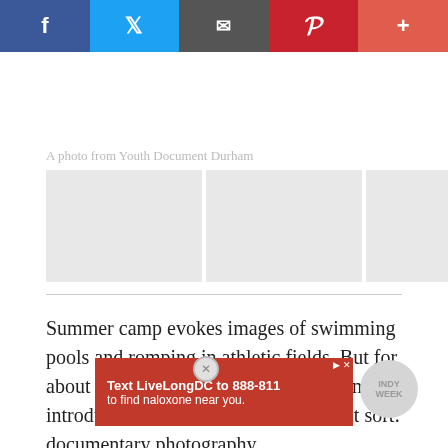[Figure (other): Social sharing bar with Facebook, Twitter, Email, Pinterest, and Plus buttons]
A photo from Youth Document Durham
[Figure (photo): Three placeholder photo thumbnails in a row]
Summer camp evokes images of swimming pools and romping in athletic fields. But for about 60 Durham teens, a local program introduces them to a field of a different sort: documentary photography.
[Figure (other): Advertisement: Text LiveLongDC to 888-811 to find naloxone near you.]